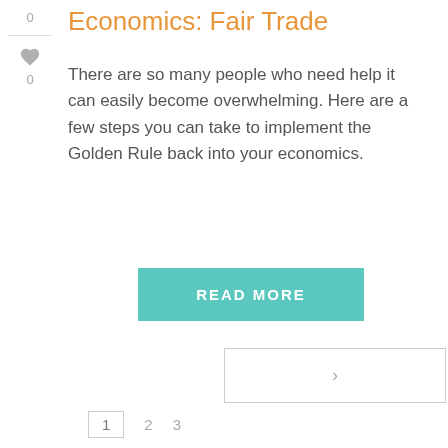0
0
Economics: Fair Trade
There are so many people who need help it can easily become overwhelming. Here are a few steps you can take to implement the Golden Rule back into your economics.
READ MORE
>
1  2  3